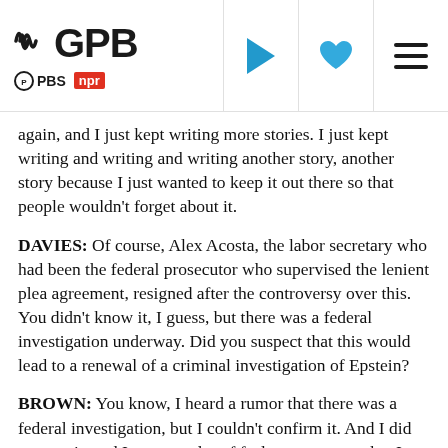GPB | PBS NPR
again, and I just kept writing more stories. I just kept writing and writing and writing another story, another story because I just wanted to keep it out there so that people wouldn't forget about it.
DAVIES: Of course, Alex Acosta, the labor secretary who had been the federal prosecutor who supervised the lenient plea agreement, resigned after the controversy over this. You didn't know it, I guess, but there was a federal investigation underway. Did you suspect that this would lead to a renewal of a criminal investigation of Epstein?
BROWN: You know, I heard a rumor that there was a federal investigation, but I couldn't confirm it. And I did suspect it, and I put out a lot of feelers to sources that I had. But like I said, I just couldn't confirm it. And when it finally happened, I was pretty shocked. I think part of me just felt, like, that